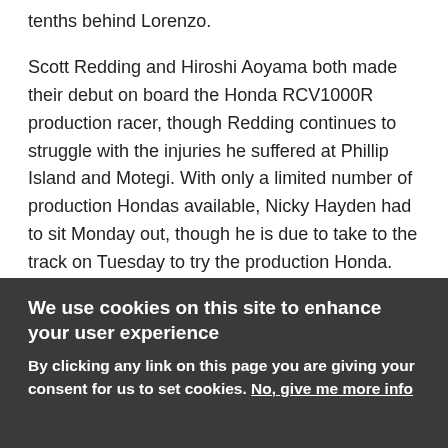tenths behind Lorenzo.
Scott Redding and Hiroshi Aoyama both made their debut on board the Honda RCV1000R production racer, though Redding continues to struggle with the injuries he suffered at Phillip Island and Motegi. With only a limited number of production Hondas available, Nicky Hayden had to sit Monday out, though he is due to take to the track on Tuesday to try the production Honda.
Moto2 champion Pol Espargaro also made his debut on the Tech 3 Yamaha, slotting into the seat vacated by Cal Crutchlow. Espargaro ended the day 1.9 seconds down on the time set by Lorenzo.
We use cookies on this site to enhance your user experience
By clicking any link on this page you are giving your consent for us to set cookies. No, give me more info